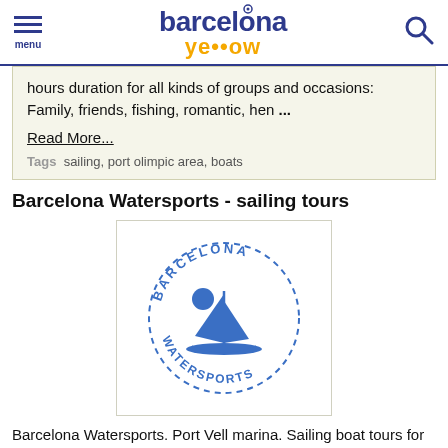menu | barcelona yellow | search
hours duration for all kinds of groups and occasions: Family, friends, fishing, romantic, hen ...
Read More...
Tags  sailing, port olimpic area, boats
Barcelona Watersports - sailing tours
[Figure (logo): Barcelona Watersports circular logo with sailboat icon in blue]
Barcelona Watersports. Port Vell marina. Sailing boat tours for corporate and group events. Jet Ski Safari, 2 hour sailing experience, Powerboat rides, motor cruiser